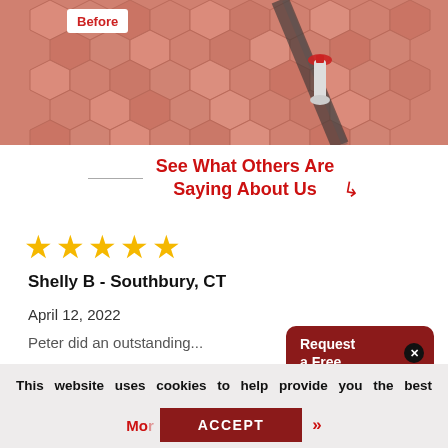[Figure (photo): Before/after comparison photo showing a surface with honeycomb tile pattern and a product (nail polish or similar) being applied. Label 'Before' shown in red text on white background in top-left.]
See What Others Are Saying About Us
[Figure (other): Five gold star rating]
Shelly B - Southbury, CT
April 12, 2022
Peter did an outstanding...
Request a Free
This website uses cookies to help provide you the best experience possible. See our Privacy Policy for more information. By continuing without changing your cookie settings within your browser, you are agreeing to our use of cookies.
More
ACCEPT
>>